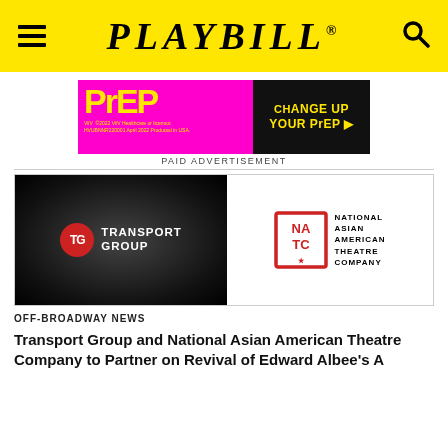PLAYBILL
[Figure (advertisement): PrEP medication advertisement in pink and black with text 'CHANGE UP YOUR PrEP']
PAID ADVERTISEMENT
[Figure (logo): Two logos side by side: Transport Group (white text on black background with red TG circle logo) and National Asian American Theatre Company (red NATC seal with black text)]
OFF-BROADWAY NEWS
Transport Group and National Asian American Theatre Company to Partner on Revival of Edward Albee's A